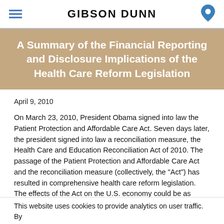GIBSON DUNN
A Summary of the Financial Reporting and Disclosure Implications of the Health Care Reform Legislation
April 9, 2010
On March 23, 2010, President Obama signed into law the Patient Protection and Affordable Care Act. Seven days later, the president signed into law a reconciliation measure, the Health Care and Education Reconciliation Act of 2010. The passage of the Patient Protection and Affordable Care Act and the reconciliation measure (collectively, the "Act") has resulted in comprehensive health care reform legislation. The effects of the Act on the U.S. economy could be as sweeping as those resulting from the passage of Medicare and
This website uses cookies to provide analytics on user traffic. By